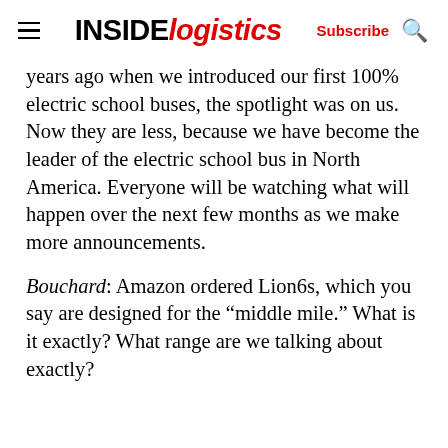INSIDE logistics | Subscribe | Search
years ago when we introduced our first 100% electric school buses, the spotlight was on us. Now they are less, because we have become the leader of the electric school bus in North America. Everyone will be watching what will happen over the next few months as we make more announcements.
Bouchard: Amazon ordered Lion6s, which you say are designed for the “middle mile.” What is it exactly? What range are we talking about exactly?